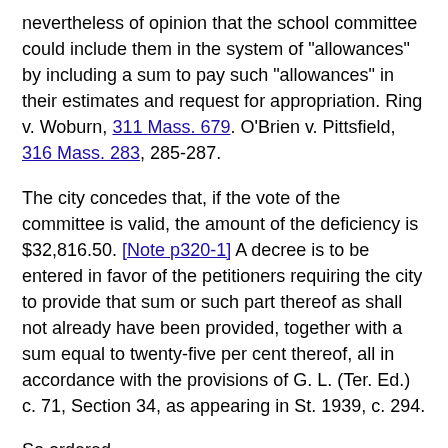nevertheless of opinion that the school committee could include them in the system of "allowances" by including a sum to pay such "allowances" in their estimates and request for appropriation. Ring v. Woburn, 311 Mass. 679. O'Brien v. Pittsfield, 316 Mass. 283, 285-287.
The city concedes that, if the vote of the committee is valid, the amount of the deficiency is $32,816.50. [Note p320-1] A decree is to be entered in favor of the petitioners requiring the city to provide that sum or such part thereof as shall not already have been provided, together with a sum equal to twenty-five per cent thereof, all in accordance with the provisions of G. L. (Ter. Ed.) c. 71, Section 34, as appearing in St. 1939, c. 294.
So ordered.